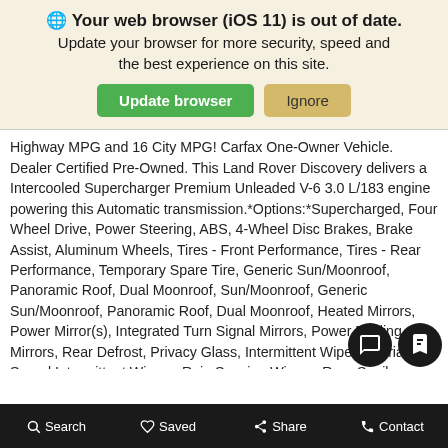[Figure (screenshot): Browser update warning banner with globe icon, bold title 'Your web browser (iOS 11) is out of date.', subtitle 'Update your browser for more security, speed and the best experience on this site.', and two buttons: green 'Update browser' and tan 'Ignore']
Highway MPG and 16 City MPG! Carfax One-Owner Vehicle. Dealer Certified Pre-Owned. This Land Rover Discovery delivers a Intercooled Supercharger Premium Unleaded V-6 3.0 L/183 engine powering this Automatic transmission.*Options:*Supercharged, Four Wheel Drive, Power Steering, ABS, 4-Wheel Disc Brakes, Brake Assist, Aluminum Wheels, Tires - Front Performance, Tires - Rear Performance, Temporary Spare Tire, Generic Sun/Moonroof, Panoramic Roof, Dual Moonroof, Sun/Moonroof, Generic Sun/Moonroof, Panoramic Roof, Dual Moonroof, Heated Mirrors, Power Mirror(s), Integrated Turn Signal Mirrors, Power Folding Mirrors, Rear Defrost, Privacy Glass, Intermittent Wipers, Variable Speed Intermittent Wipers, Rain Sensing Wipers, Rear Spoiler, Running Boards/Side Steps, Remote Trunk Release, Power Liftgate, Power Door Locks, Daytime Running Lights, Automatic Headlights, Headlights-Auto-Leveling, LED Headlights, Autom Highbeams, Navigation System, Premium Sound S W Hotspot, CD Player, MP3 Player, Steering Wheel Audio Controls,
Search  Saved  Share  Contact